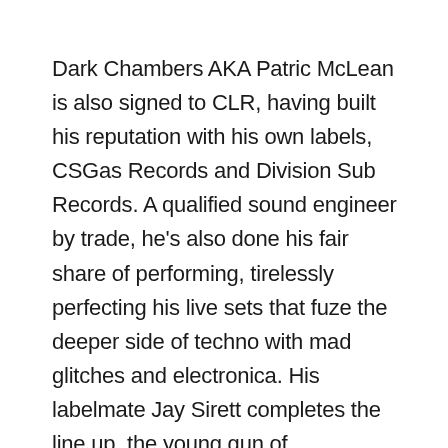Dark Chambers AKA Patric McLean is also signed to CLR, having built his reputation with his own labels, CSGas Records and Division Sub Records. A qualified sound engineer by trade, he's also done his fair share of performing, tirelessly perfecting his live sets that fuze the deeper side of techno with mad glitches and electronica. His labelmate Jay Sirett completes the line up, the young gun of Birmingham's techno scene and has grown from strength to strength the past 12 months with residencies at Occult and Trönika within the city.